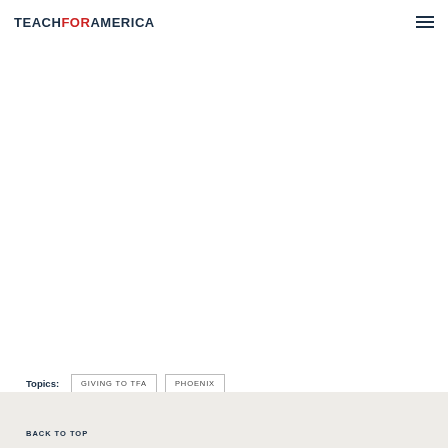TEACHFORAMERICA
Topics: GIVING TO TFA   PHOENIX
BACK TO TOP